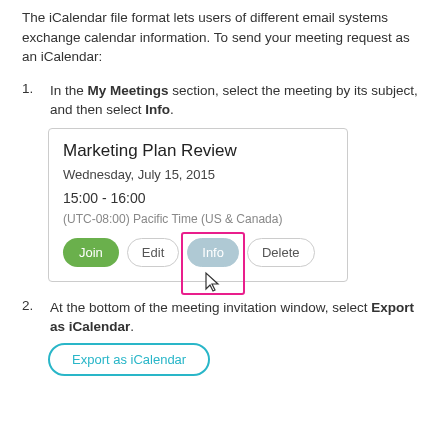The iCalendar file format lets users of different email systems exchange calendar information. To send your meeting request as an iCalendar:
In the My Meetings section, select the meeting by its subject, and then select Info.
[Figure (screenshot): Screenshot of a meeting card for 'Marketing Plan Review' on Wednesday, July 15, 2015, 15:00–16:00, (UTC-08:00) Pacific Time (US & Canada), with buttons: Join, Edit, Info (highlighted with pink border and cursor), Delete.]
At the bottom of the meeting invitation window, select Export as iCalendar.
[Figure (screenshot): Screenshot of an 'Export as iCalendar' button with teal outline border.]